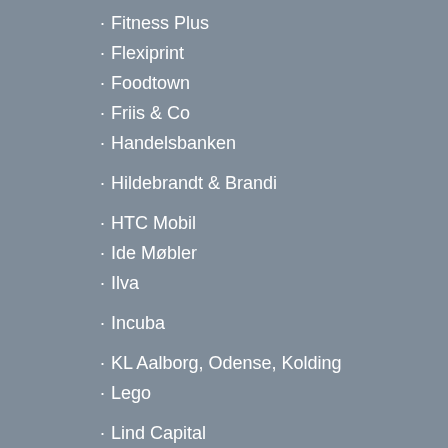Fitness Plus
Flexiprint
Foodtown
Friis & Co
Handelsbanken
Hildebrandt & Brandi
HTC Mobil
Ide Møbler
Ilva
Incuba
KL Aalborg, Odense, Kolding
Lego
Lind Capital
MadMedOmtanke
Himmelstrup & co